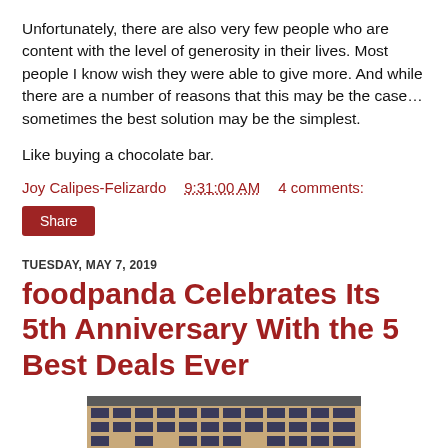Unfortunately, there are also very few people who are content with the level of generosity in their lives. Most people I know wish they were able to give more. And while there are a number of reasons that this may be the case… sometimes the best solution may be the simplest.
Like buying a chocolate bar.
Joy Calipes-Felizardo   9:31:00 AM   4 comments:
Share
TUESDAY, MAY 7, 2019
foodpanda Celebrates Its 5th Anniversary With the 5 Best Deals Ever
[Figure (photo): Partial view of a building exterior with windows and facade, cropped at bottom of page]